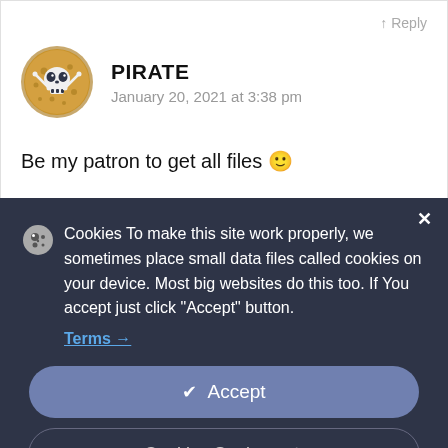↑ Reply
PIRATE
January 20, 2021 at 3:38 pm
Be my patron to get all files 🙂
× Cookies To make this site work properly, we sometimes place small data files called cookies on your device. Most big websites do this too. If You accept just click "Accept" button. Terms →
✓ Accept
Cookies Settings ⚙